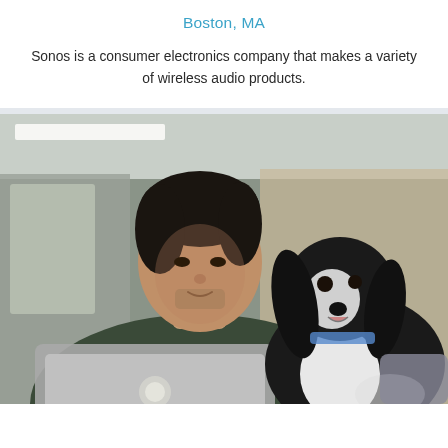Boston, MA
Sonos is a consumer electronics company that makes a variety of wireless audio products.
[Figure (photo): A young man with dark hair wearing a dark green sweater sits looking at a black and white dog (appears to be a Cocker Spaniel) that is looking up at him. The man has a MacBook laptop open in front of him. They are in what appears to be an office setting with blurred background.]